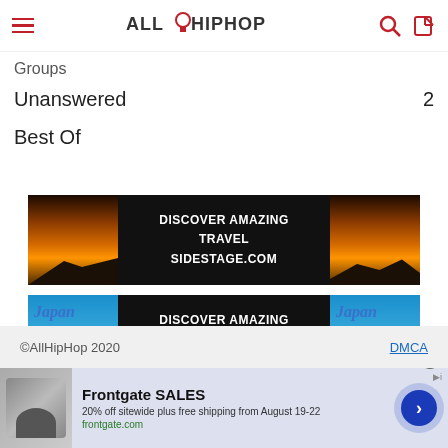ALLHIPHOP
Groups
Unanswered  2
Best Of
[Figure (illustration): Travel advertisement banner: 'DISCOVER AMAZING TRAVEL SIDESTAGE.COM' with sunset mountain images on left and right]
[Figure (illustration): Travel advertisement banner: 'DISCOVER AMAZING TRAVEL SIDESTAGE.COM' with Japan pagoda images on left and right]
©AllHipHop 2020  DMCA
[Figure (illustration): Frontgate SALES ad: 20% off sitewide plus free shipping from August 19-22. frontgate.com]